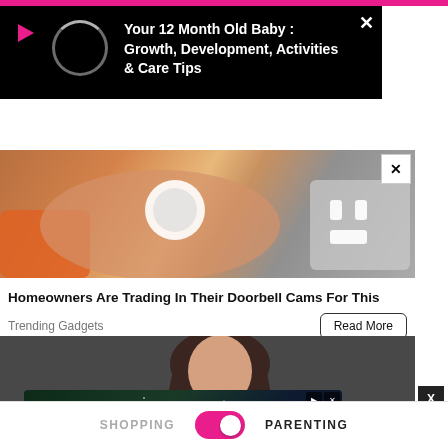[Figure (screenshot): Pink top navigation bar of a website]
[Figure (screenshot): Video popup overlay on black background with play icon, loading circle, and article title 'Your 12 Month Old Baby : Growth, Development, Activities & Care Tips' in white bold text with X close button]
[Figure (photo): Advertisement photo showing a hand holding a small round device (doorbell camera) with orange tool visible, electrical outlet in background]
Homeowners Are Trading In Their Doorbell Cams For This
Trending Gadgets
[Figure (photo): Woman with long dark hair in white top working in kitchen, dark background]
[Figure (advertisement): Love Island USA advertisement for Peacock streaming service with yellow-green tropical theme and Sign Up Now button]
SHOPPING   PARENTING